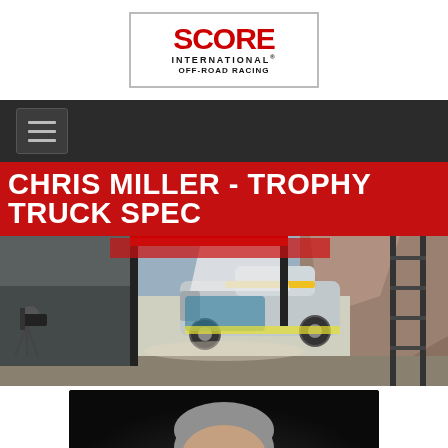[Figure (logo): SCORE International Off-Road Racing logo in red and black]
[Figure (screenshot): Dark navigation bar with hamburger menu icon]
CHRIS MILLER - TROPHY TRUCK SPEC
[Figure (photo): Race action photo showing a Trophy Truck airborne at a start/finish area with crowd, mountains, and scaffolding in background]
[Figure (photo): Portrait photo of Chris Miller, a middle-aged man with gray hair against a dark background]